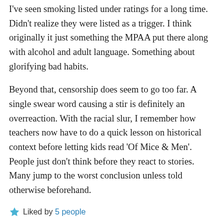I've seen smoking listed under ratings for a long time. Didn't realize they were listed as a trigger. I think originally it just something the MPAA put there along with alcohol and adult language. Something about glorifying bad habits.
Beyond that, censorship does seem to go too far. A single swear word causing a stir is definitely an overreaction. With the racial slur, I remember how teachers now have to do a quick lesson on historical context before letting kids read 'Of Mice & Men'. People just don't think before they react to stories. Many jump to the worst conclusion unless told otherwise beforehand.
Liked by 5 people